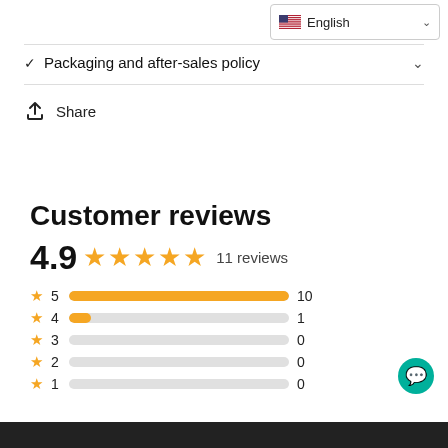English (language selector)
✓  Packaging and after-sales policy
Share
Customer reviews
[Figure (bar-chart): Customer reviews rating breakdown]